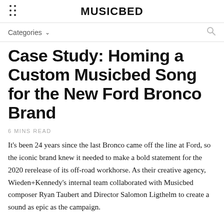MUSICBED
Categories
Case Study: Homing a Custom Musicbed Song for the New Ford Bronco Brand
6 MINS READ
It's been 24 years since the last Bronco came off the line at Ford, so the iconic brand knew it needed to make a bold statement for the 2020 rerelease of its off-road workhorse. As their creative agency, Wieden+Kennedy's internal team collaborated with Musicbed composer Ryan Taubert and Director Salomon Ligthelm to create a sound as epic as the campaign.